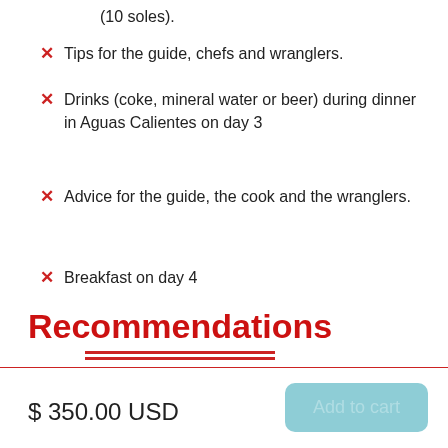(10 soles).
Tips for the guide, chefs and wranglers.
Drinks (coke, mineral water or beer) during dinner in Aguas Calientes on day 3
Advice for the guide, the cook and the wranglers.
Breakfast on day 4
Recommendations
$ 350.00 USD
Add to cart